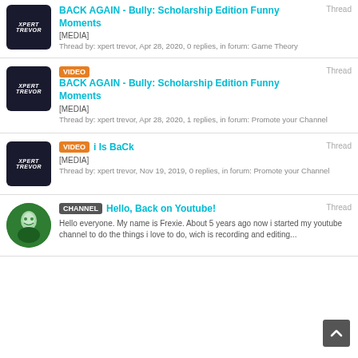BACK AGAIN - Bully: Scholarship Edition Funny Moments | [MEDIA] | Thread by: xpert trevor, Apr 28, 2020, 0 replies, in forum: Game Theory
VIDEO | BACK AGAIN - Bully: Scholarship Edition Funny Moments | [MEDIA] | Thread by: xpert trevor, Apr 28, 2020, 1 replies, in forum: Promote your Channel
VIDEO | i Is BaCk | [MEDIA] | Thread by: xpert trevor, Nov 19, 2019, 0 replies, in forum: Promote your Channel
CHANNEL | Hello, Back on Youtube! | Hello everyone. My name is Frexie. About 5 years ago now i started my youtube channel to do the things i love to do, wich is recording and editing...